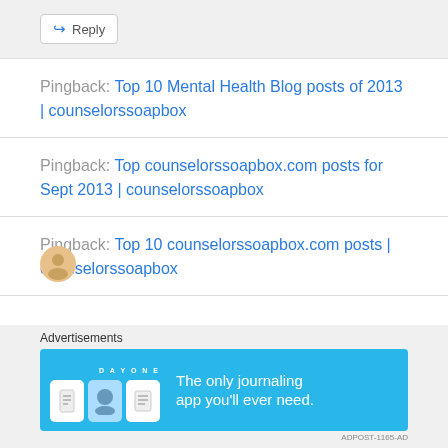Reply
Pingback: Top 10 Mental Health Blog posts of 2013 | counselorssoapbox
Pingback: Top counselorssoapbox.com posts for Sept 2013 | counselorssoapbox
Pingback: Top 10 counselorssoapbox.com posts | counselorssoapbox
Advertisements
[Figure (screenshot): Day One journaling app advertisement banner with text: The only journaling app you'll ever need.]